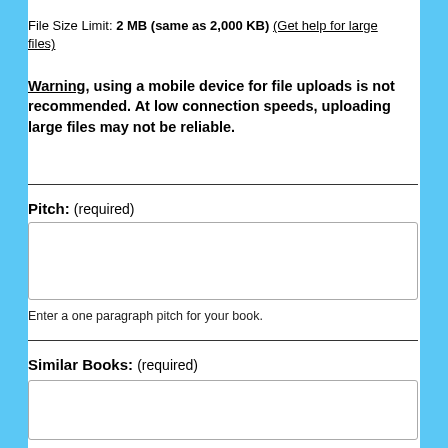File Size Limit: 2 MB (same as 2,000 KB) (Get help for large files)
Warning, using a mobile device for file uploads is not recommended. At low connection speeds, uploading large files may not be reliable.
Pitch: (required)
Enter a one paragraph pitch for your book.
Similar Books: (required)